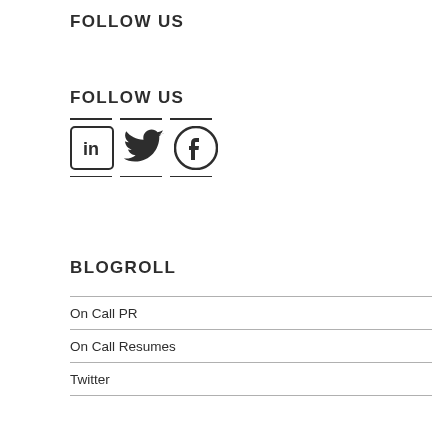FOLLOW US
FOLLOW US
[Figure (illustration): Social media icons: LinkedIn, Twitter, Facebook with horizontal divider lines above and below]
BLOGROLL
On Call PR
On Call Resumes
Twitter